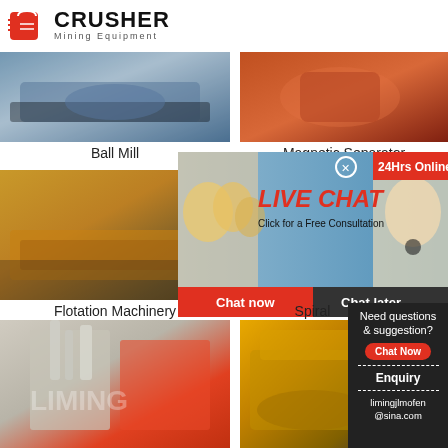[Figure (logo): Crusher Mining Equipment logo with red shopping bag icon and bold CRUSHER text]
[Figure (photo): Ball Mill industrial equipment photo]
[Figure (photo): Magnetic Separator equipment photo (orange/red)]
Ball Mill
Magnetic Separator
[Figure (photo): Flotation Machinery equipment photo]
[Figure (photo): Spiral classifier equipment photo]
[Figure (screenshot): Live Chat popup overlay with 24Hrs Online badge, LIVE CHAT title, Click for a Free Consultation text, Chat now and Chat later buttons, customer service representative photo]
Flotation Machinery
Spiral
[Figure (photo): Industrial grinding mill / powder making machine exterior building photo]
[Figure (photo): Crusher/construction equipment photo]
[Figure (infographic): Sidebar: Need questions & suggestion? Chat Now button, Enquiry link, limingjlmofen@sina.com email]